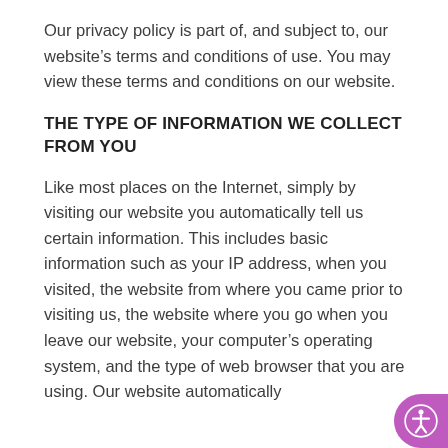Our privacy policy is part of, and subject to, our website's terms and conditions of use. You may view these terms and conditions on our website.
THE TYPE OF INFORMATION WE COLLECT FROM YOU
Like most places on the Internet, simply by visiting our website you automatically tell us certain information. This includes basic information such as your IP address, when you visited, the website from where you came prior to visiting us, the website where you go when you leave our website, your computer's operating system, and the type of web browser that you are using. Our website automatically